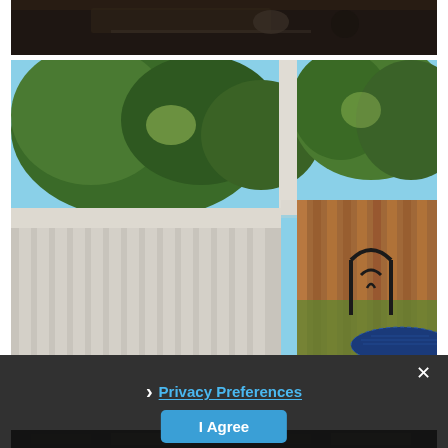[Figure (photo): Top portion of a dark indoor scene, possibly a table with items on it]
[Figure (photo): Outdoor porch/deck scene with white railing/spindles, green trees in background, a black metal chair, and a blue mosaic table. Right side shows a cedar fence.]
× Privacy Preferences I Agree
[Figure (photo): Bottom strip of another photo, partially visible below the privacy overlay]